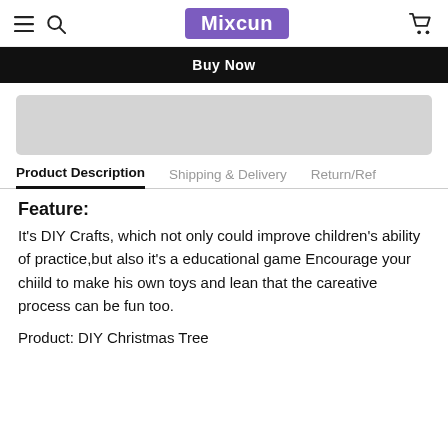Mixcun
[Figure (screenshot): Black Buy Now button bar]
[Figure (other): Gray placeholder rectangle]
Product Description | Shipping & Delivery | Return/Ref
Feature:
It's DIY Crafts, which not only could improve children's ability of practice,but also it's a educational game Encourage your chiild to make his own toys and lean that the careative process can be fun too.
Product: DIY Christmas Tree